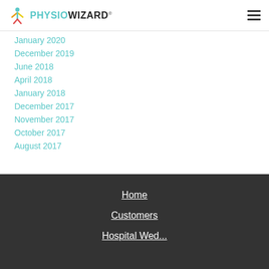PHYSIOWIZARD
January 2020
December 2019
June 2018
April 2018
January 2018
December 2017
November 2017
October 2017
August 2017
Home | Customers | HospitalWed...